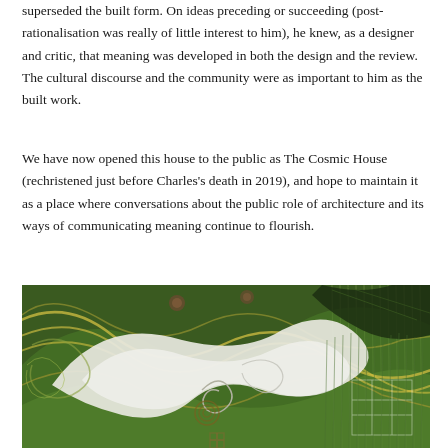superseded the built form. On ideas preceding or succeeding (post-rationalisation was really of little interest to him), he knew, as a designer and critic, that meaning was developed in both the design and the review. The cultural discourse and the community were as important to him as the built work.
We have now opened this house to the public as The Cosmic House (rechristened just before Charles's death in 2019), and hope to maintain it as a place where conversations about the public role of architecture and its ways of communicating meaning continue to flourish.
[Figure (illustration): A colorful painting with swirling green, yellow, and white forms suggesting organic or cosmic shapes — flowing curves, spirals, and linear patterns resembling a surreal landscape or abstract artwork.]